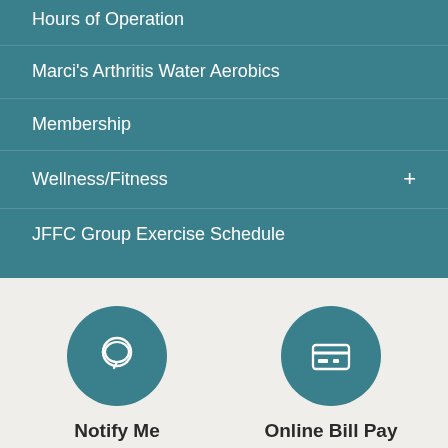Hours of Operation
Marci's Arthritis Water Aerobics
Membership
Wellness/Fitness +
JFFC Group Exercise Schedule
[Figure (illustration): Teal circle with a speech bubble / location pin icon]
Notify Me
Find out what's happening
[Figure (illustration): Teal circle with a credit card / bill pay icon]
Online Bill Pay
Easily pay your bills online